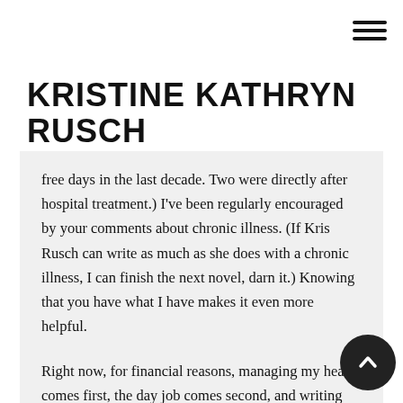[hamburger menu icon]
KRISTINE KATHRYN RUSCH
free days in the last decade. Two were directly after hospital treatment.) I've been regularly encouraged by your comments about chronic illness. (If Kris Rusch can write as much as she does with a chronic illness, I can finish the next novel, darn it.) Knowing that you have what I have makes it even more helpful.
Right now, for financial reasons, managing my health comes first, the day job comes second, and writing comes third. If I don't manage my health, I'll lose the rest of the week to the overwhelming pain. I'm the main